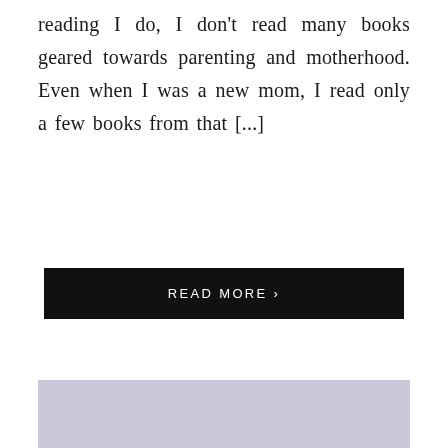reading I do, I don't read many books geared towards parenting and motherhood. Even when I was a new mom, I read only a few books from that [...]
READ MORE ›
[Figure (photo): Gray/lavender colored rectangular image block at bottom of page]